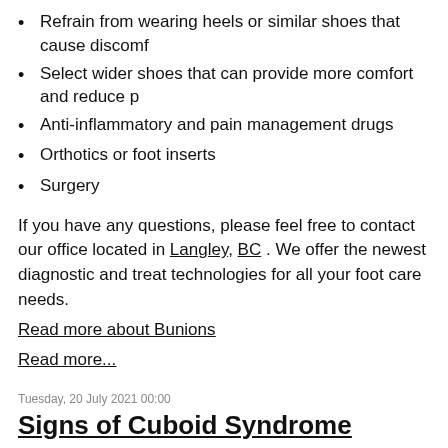Refrain from wearing heels or similar shoes that cause discomfort
Select wider shoes that can provide more comfort and reduce pressure
Anti-inflammatory and pain management drugs
Orthotics or foot inserts
Surgery
If you have any questions, please feel free to contact our office located in Langley, BC . We offer the newest diagnostic and treatment technologies for all your foot care needs.
Read more about Bunions
Read more...
Tuesday, 20 July 2021 00:00
Signs of Cuboid Syndrome
The cuboid is a cube-shaped bone located...